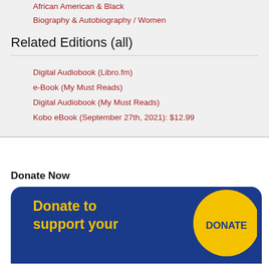African American & Black
Biography & Autobiography / Women
Related Editions (all)
Digital Audiobook (Libro.fm)
e-Book (My Must Reads)
Digital Audiobook (My Must Reads)
Kobo eBook (September 27th, 2021): $12.99
Donate Now
[Figure (illustration): Donate to support your library banner with blue background, yellow text reading 'Donate to support your' and a yellow circular donate button with blue text 'DONATE']